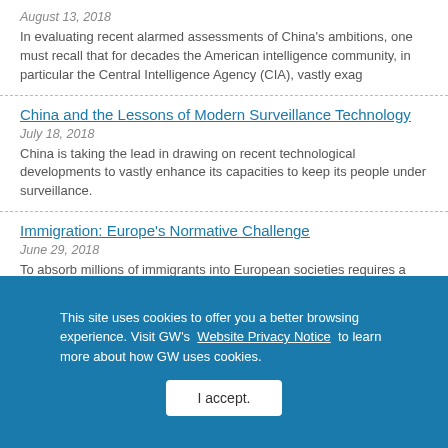August 13, 2018
In evaluating recent alarmed assessments of China's ambitions, one must recall that for decades the American intelligence community, in particular the Central Intelligence Agency (CIA), vastly exag
China and the Lessons of Modern Surveillance Technology
July 18, 2018
China is taking the lead in drawing on recent technological developments to vastly enhance its capacities to keep its people under surveillance.
Immigration: Europe's Normative Challenge
June 29, 2018
To absorb millions of immigrants into European societies requires a normative integration.
This site uses cookies to offer you a better browsing experience. Visit GW's Website Privacy Notice to learn more about how GW uses cookies.
I accept.